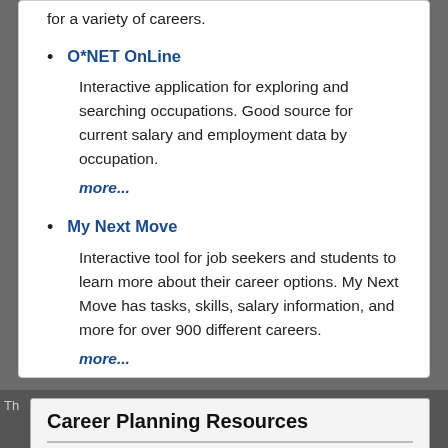for a variety of careers.
O*NET OnLine – Interactive application for exploring and searching occupations. Good source for current salary and employment data by occupation. more...
My Next Move – Interactive tool for job seekers and students to learn more about their career options. My Next Move has tasks, skills, salary information, and more for over 900 different careers. more...
Career Planning Resources